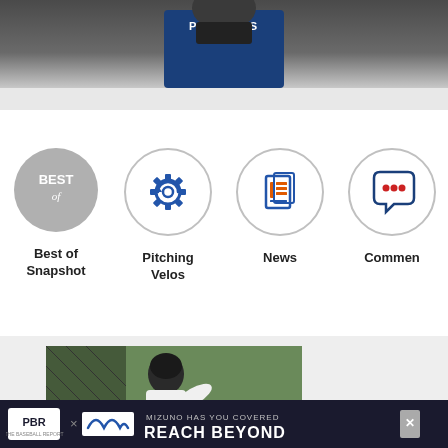[Figure (photo): Top portion of page showing a football player in a Patriots jersey, partially visible from chest up]
[Figure (infographic): Four circular icon navigation items: Best of Snapshot (gray filled circle with BEST of text), Pitching Velos (gear icon in outlined circle), News (newspaper icon in outlined circle), Commen (speech bubble with dots in outlined circle)]
Best of Snapshot
Pitching Velos
News
Commen
[Figure (photo): A baseball batter swinging, wearing a helmet and white shirt, with green trees in background]
[Figure (screenshot): Advertisement banner: PBR x Mizuno logo with text MIZUNO HAS YOU COVERED REACH BEYOND on dark background]